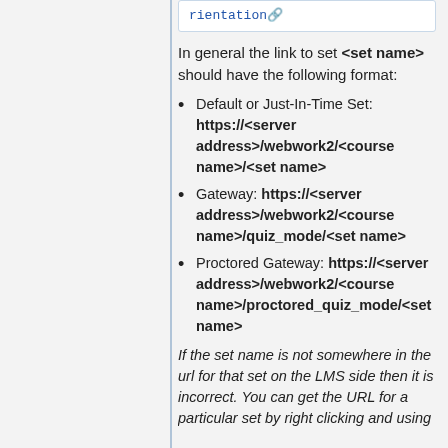rientation (link with external icon)
In general the link to set <set name> should have the following format:
Default or Just-In-Time Set: https://<server address>/webwork2/<course name>/<set name>
Gateway: https://<server address>/webwork2/<course name>/quiz_mode/<set name>
Proctored Gateway: https://<server address>/webwork2/<course name>/proctored_quiz_mode/<set name>
If the set name is not somewhere in the url for that set on the LMS side then it is incorrect. You can get the URL for a particular set by right clicking and using